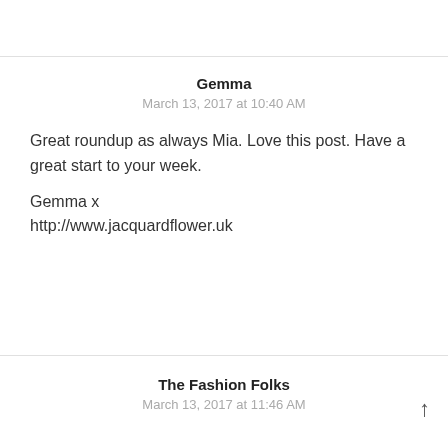Gemma
March 13, 2017 at 10:40 AM
Great roundup as always Mia. Love this post. Have a great start to your week.
Gemma x
http://www.jacquardflower.uk
The Fashion Folks
March 13, 2017 at 11:46 AM